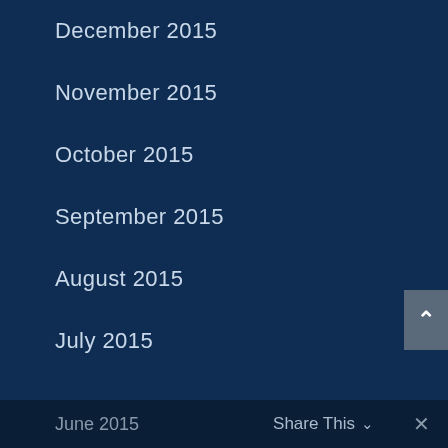December 2015
November 2015
October 2015
September 2015
August 2015
July 2015
June 2015   Share This ∨   ✕